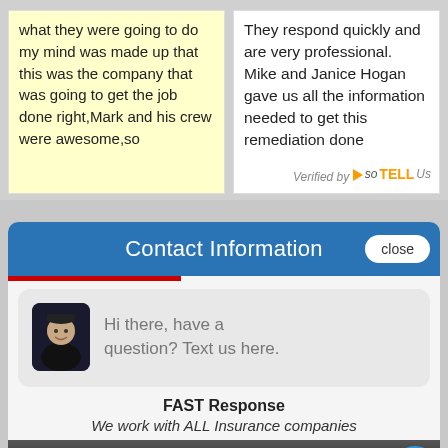what they were going to do my mind was made up that this was the company that was going to get the job done right,Mark and his crew were awesome,so
They respond quickly and are very professional. Mike and Janice Hogan gave us all the information needed to get this remediation done
[Figure (logo): Verified by SoTellUs logo with orange play button]
Contact Information
close
[Figure (illustration): Chat bubble with avatar and text: Hi there, have a question? Text us here.]
FAST Response
We work with ALL Insurance companies
[Figure (photo): Close-up photo of telephone/phone keypad buttons]